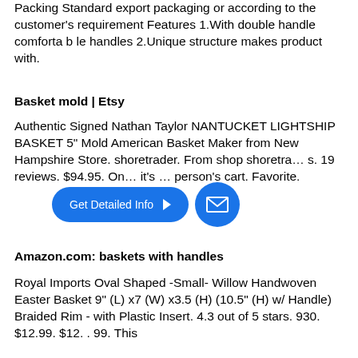Packing Standard export packaging or according to the customer's requirement Features 1.With double handle comforta b le handles 2.Unique structure makes product with.
Basket mold | Etsy
Authentic Signed Nathan Taylor NANTUCKET LIGHTSHIP BASKET 5" Mold American Basket Maker from New Hampshire Store. shoretrader. From shop shoretra... s. 19 reviews. $94.95. On... it's ... person's cart. Favorite.
Amazon.com: baskets with handles
Royal Imports Oval Shaped -Small- Willow Handwoven Easter Basket 9" (L) x7 (W) x3.5 (H) (10.5" (H) w/ Handle) Braided Rim - with Plastic Insert. 4.3 out of 5 stars. 930. $12.99. $12. . 99. This
[Figure (screenshot): UI overlay with a blue pill-shaped 'Get Detailed Info' button with arrow and a blue circular email/envelope icon button]